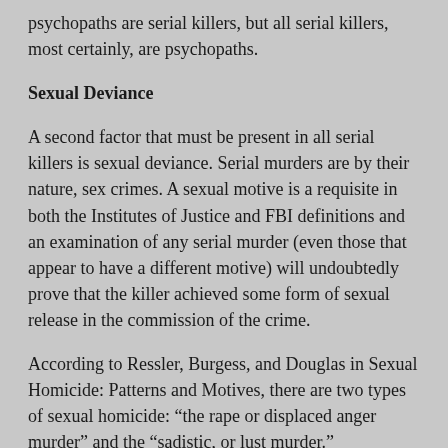psychopaths are serial killers, but all serial killers, most certainly, are psychopaths.
Sexual Deviance
A second factor that must be present in all serial killers is sexual deviance. Serial murders are by their nature, sex crimes. A sexual motive is a requisite in both the Institutes of Justice and FBI definitions and an examination of any serial murder (even those that appear to have a different motive) will undoubtedly prove that the killer achieved some form of sexual release in the commission of the crime.
According to Ressler, Burgess, and Douglas in Sexual Homicide: Patterns and Motives, there are two types of sexual homicide: “the rape or displaced anger murder” and the “sadistic, or lust murder.”
For some murderers, the rape is the primary objective for the crime, the murder committed to cover it up. For others, the act of murder and the ritual acts associated with it, provide the sexual release. The annals of serial murder abound with such cases, Bundy, Kearney, Kemper, Nilsen and others were necrophiles;